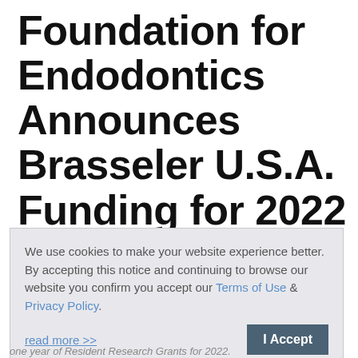Foundation for Endodontics Announces Brasseler U.S.A. Funding for 2022 Resident Research Grants
We use cookies to make your website experience better. By accepting this notice and continuing to browse our website you confirm you accept our Terms of Use & Privacy Policy.
read more >>
I Accept
one year of Resident Research Grants for 2022.